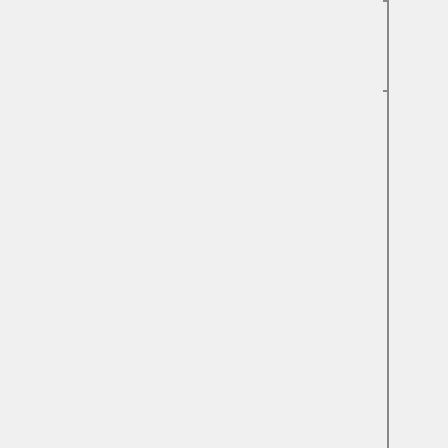| Feature | Status |
| --- | --- |
| (partial row) | | N/A=lightgra... yellow }}" | N/A... |
| CPU frequency scaling | OK=lime | TODO=red | No=red | WIP=orange | Untested=yellow | N/A=lightgray yellow }}" | Untested |
| Other powersaving features | OK=lime | TODO=red | No=red | WIP=orange | Untested=yellow | N/A=lightgra yellow }}" | N/A... |
| ACPI | OK=lime | TODO=red | No=red | WIP=orange | Untested=yellow | N/A=lightgra yellow }}... |